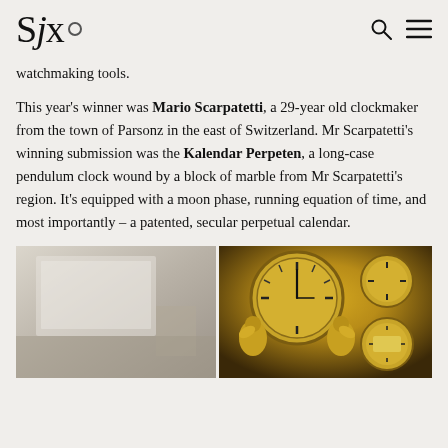SJx.
watchmaking tools.
This year's winner was Mario Scarpatetti, a 29-year old clockmaker from the town of Parsonz in the east of Switzerland. Mr Scarpatetti's winning submission was the Kalendar Perpeten, a long-case pendulum clock wound by a block of marble from Mr Scarpatetti's region. It's equipped with a moon phase, running equation of time, and most importantly – a patented, secular perpetual calendar.
[Figure (photo): Two-panel photograph: left panel shows a workshop or exhibition interior with pale walls and equipment; right panel shows an ornate golden clock face with cherub/angel figurines and multiple dials including a moon phase and calendar complications.]